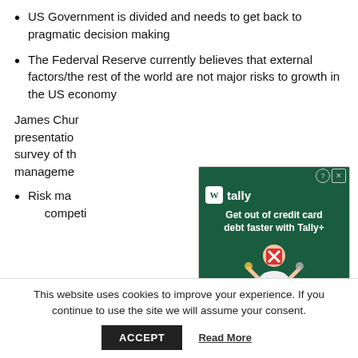US Government is divided and needs to get back to pragmatic decision making
The Federval Reserve currently believes that external factors/the rest of the world are not major risks to growth in the US economy
James Chur[...] presentation[...] survey of th[...] management[...]
Risk ma[nagement is key for staying] competi[tive...]
[Figure (screenshot): Tally advertisement overlay: 'Get out of credit card debt faster with Tally+' with Apply Now button on dark green background]
This website uses cookies to improve your experience. If you continue to use the site we will assume your consent.
ACCEPT   Read More